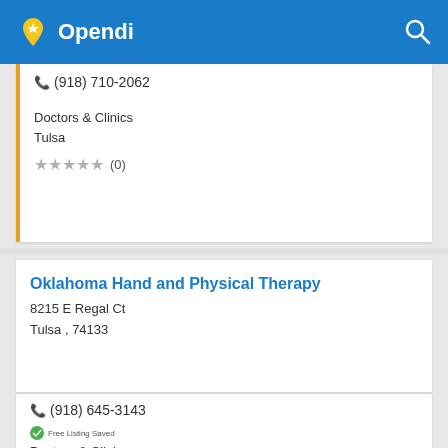Opendi
(918) 710-2062
Doctors & Clinics
Tulsa
★★★★★ (0)
Oklahoma Hand and Physical Therapy
8215 E Regal Ct
Tulsa , 74133
(918) 645-3143
Doctors & Clinics
Tulsa
★★★★★ (0)
The Diabetic Guy